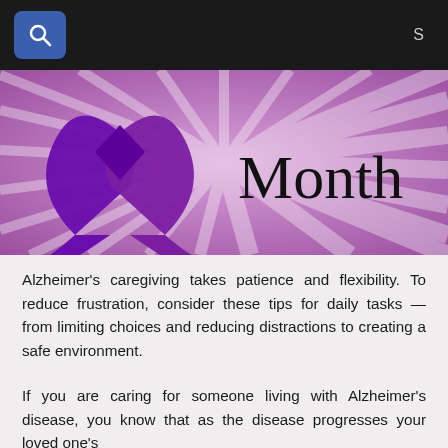S
[Figure (illustration): Purple Alzheimer's awareness ribbon on a purple radial burst background with the word 'Month' in large serif text to the right]
Alzheimer's caregiving takes patience and flexibility. To reduce frustration, consider these tips for daily tasks — from limiting choices and reducing distractions to creating a safe environment.
If you are caring for someone living with Alzheimer's disease, you know that as the disease progresses your loved one's